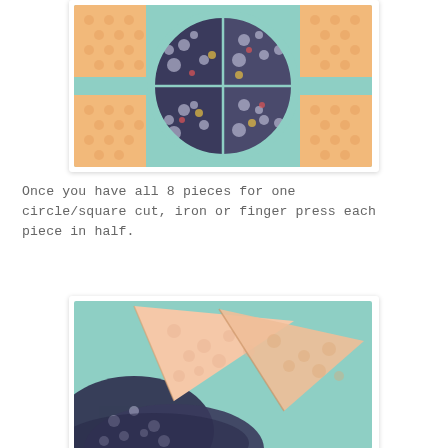[Figure (photo): Quilt pieces laid out on mint/teal fabric: four dark navy floral fabric quarter-circle pieces arranged in a circle shape, with orange polka-dot square corner pieces at the sides and bottom, forming a circle-in-a-square quilt block pattern.]
Once you have all 8 pieces for one circle/square cut, iron or finger press each piece in half.
[Figure (photo): Close-up photo of fabric pieces folded/pressed in half on a mint/teal background: peach/pink polka-dot triangular folded pieces and dark navy floral folded quarter-circle pieces shown after being pressed in half.]